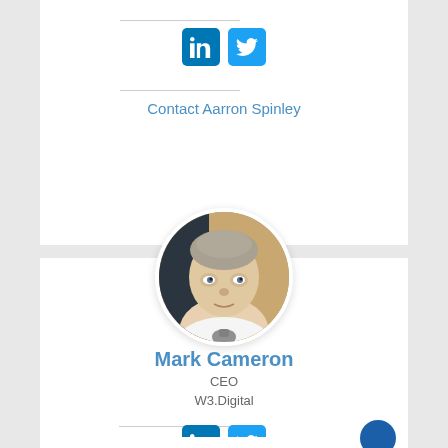[Figure (other): LinkedIn and Twitter social media icons (top card)]
Contact Aarron Spinley
[Figure (photo): Circular profile photo of Mark Cameron, a man with short grey hair wearing a white shirt]
Mark Cameron
CEO
W3.Digital
[Figure (other): LinkedIn and Twitter social media icons (bottom card)]